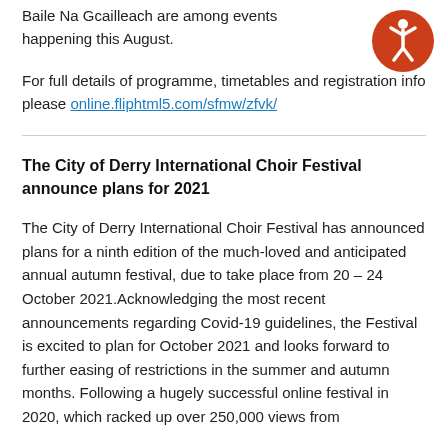Baile Na Gcailleach are among events happening this August.
[Figure (illustration): Orange circular accessibility icon with white stick figure person with arms raised]
For full details of programme, timetables and registration info please online.fliphtml5.com/sfmw/zfvk/
The City of Derry International Choir Festival announce plans for 2021
The City of Derry International Choir Festival has announced plans for a ninth edition of the much-loved and anticipated annual autumn festival, due to take place from 20 – 24 October 2021.Acknowledging the most recent announcements regarding Covid-19 guidelines, the Festival is excited to plan for October 2021 and looks forward to further easing of restrictions in the summer and autumn months. Following a hugely successful online festival in 2020, which racked up over 250,000 views from